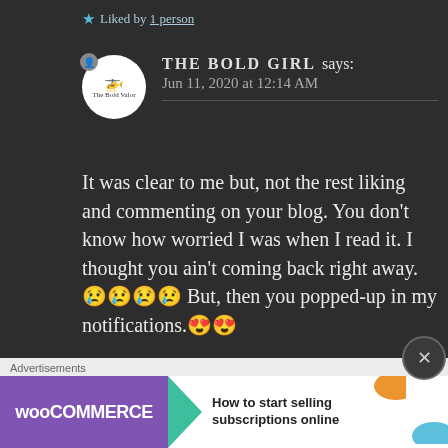★ Liked by 1 person
THE BOLD GIRL says: Jun 11, 2020 at 12:14 AM
It was clear to me but, not the rest liking and commenting on your blog. You don't know how worried I was when I read it. I thought you ain't coming back right away.😢😢😢😢 But, then you popped-up in my notifications.😍😍
[Figure (screenshot): WooCommerce advertisement banner: 'How to start selling subscriptions online']
Advertisements